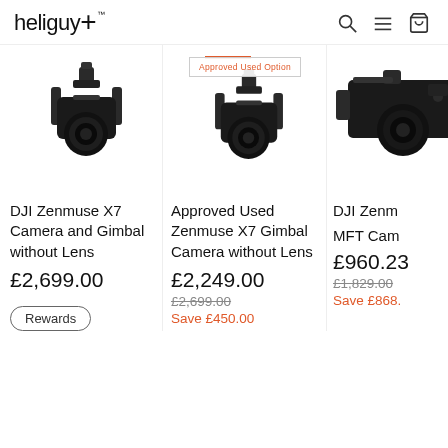heliguy+
[Figure (photo): DJI Zenmuse X7 camera and gimbal product photo on white background]
[Figure (photo): Approved Used DJI Zenmuse X7 camera and gimbal product photo on white background with 'Approved Used Option' badge]
[Figure (photo): DJI Zenmuse MFT camera partial product photo on white background]
DJI Zenmuse X7 Camera and Gimbal without Lens
Approved Used Zenmuse X7 Gimbal Camera without Lens
DJI Zenm MFT Cam
£2,699.00
£2,249.00
£2,699.00 (original price, struck through)
Save £450.00
£960.23
£1,829.00 (original price, struck through)
Save £868.
Rewards